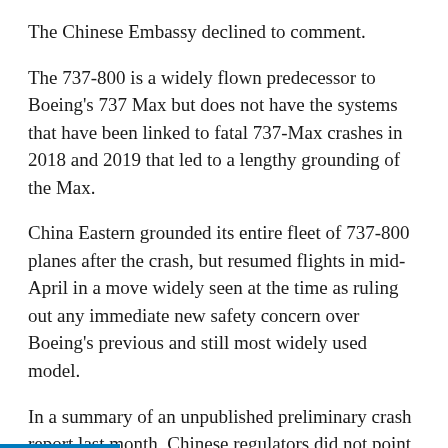The Chinese Embassy declined to comment.
The 737-800 is a widely flown predecessor to Boeing's 737 Max but does not have the systems that have been linked to fatal 737-Max crashes in 2018 and 2019 that led to a lengthy grounding of the Max.
China Eastern grounded its entire fleet of 737-800 planes after the crash, but resumed flights in mid-April in a move widely seen at the time as ruling out any immediate new safety concern over Boeing's previous and still most widely used model.
In a summary of an unpublished preliminary crash report last month, Chinese regulators did not point to any technical recommendations on the 737-800, which has been in service since 1997 with a strong safety record, according to experts.